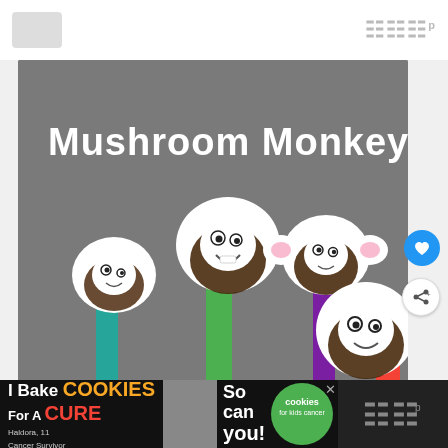[Figure (photo): Photo of four paper mushroom monkey puppets on popsicle sticks (teal, green, purple, red) on a gray background, with white text overlay reading 'Mushroom Monkeys!']
[Figure (photo): Advertisement banner: 'I Bake COOKIES For A CURE' with a girl photo, 'So can you!' text, and a green cookies for kids cancer logo. Close button visible.]
[Figure (photo): Bottom right panel showing the site logo icon on dark background]